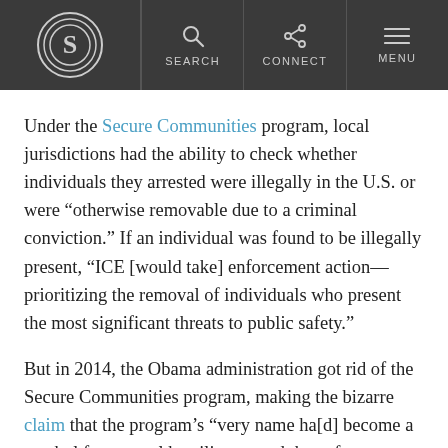S | SEARCH | CONNECT | MENU
Under the Secure Communities program, local jurisdictions had the ability to check whether individuals they arrested were illegally in the U.S. or were “otherwise removable due to a criminal conviction.” If an individual was found to be illegally present, “ICE [would take] enforcement action—prioritizing the removal of individuals who present the most significant threats to public safety.”
But in 2014, the Obama administration got rid of the Secure Communities program, making the bizarre claim that the program’s “very name ha[d] become a symbol for general hostility toward the enforcement of [the nation’s] immigration laws.”